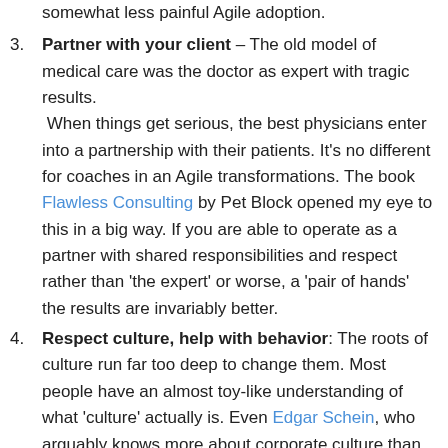somewhat less painful Agile adoption.
Partner with your client – The old model of medical care was the doctor as expert with tragic results. When things get serious, the best physicians enter into a partnership with their patients. It's no different for coaches in an Agile transformations. The book Flawless Consulting by Pet Block opened my eye to this in a big way. If you are able to operate as a partner with shared responsibilities and respect rather than 'the expert' or worse, a 'pair of hands' the results are invariably better.
Respect culture, help with behavior: The roots of culture run far too deep to change them. Most people have an almost toy-like understanding of what 'culture' actually is. Even Edgar Schein, who arguably knows more about corporate culture than anyone else alive,